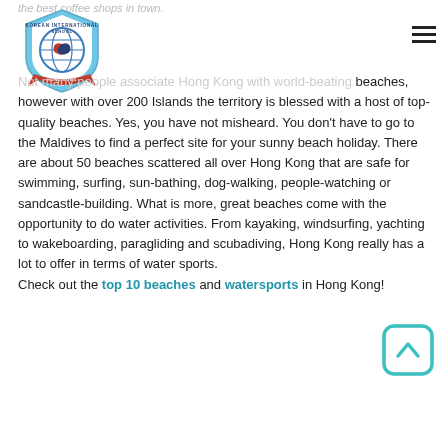the best coffee shops in town.
[Figure (logo): Korean International School Hong Kong shield logo]
Not many people associate Hong Kong with world-beating beaches, however with over 200 Islands the territory is blessed with a host of top-quality beaches. Yes, you have not misheard. You don't have to go to the Maldives to find a perfect site for your sunny beach holiday. There are about 50 beaches scattered all over Hong Kong that are safe for swimming, surfing, sun-bathing, dog-walking, people-watching or sandcastle-building. What is more, great beaches come with the opportunity to do water activities. From kayaking, windsurfing, yachting to wakeboarding, paragliding and scubadiving, Hong Kong really has a lot to offer in terms of water sports. Check out the top 10 beaches and watersports in Hong Kong!
[Figure (illustration): Teal rounded square with upward chevron arrow icon (scroll to top button)]